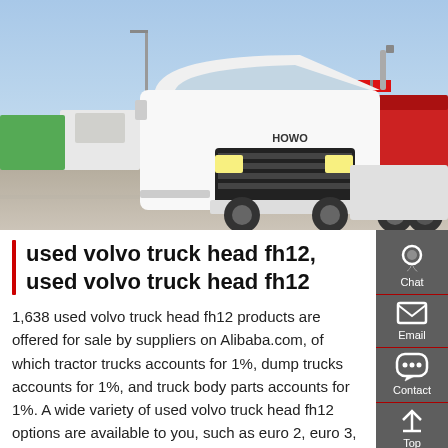[Figure (photo): White HOWO semi-truck/tractor head in a large parking lot with other trucks in the background, under a clear blue sky.]
used volvo truck head fh12, used volvo truck head fh12
1,638 used volvo truck head fh12 products are offered for sale by suppliers on Alibaba.com, of which tractor trucks accounts for 1%, dump trucks accounts for 1%, and truck body parts accounts for 1%. A wide variety of used volvo truck head fh12 options are available to you, such as euro 2, euro 3, and euro 4.